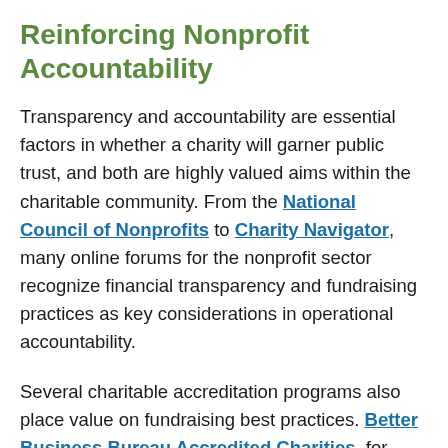Reinforcing Nonprofit Accountability
Transparency and accountability are essential factors in whether a charity will garner public trust, and both are highly valued aims within the charitable community. From the National Council of Nonprofits to Charity Navigator, many online forums for the nonprofit sector recognize financial transparency and fundraising practices as key considerations in operational accountability.
Several charitable accreditation programs also place value on fundraising best practices. Better Business Bureau Accredited Charities, for example, must adhere to a variety of fundraising compliance standards, including guidelines on website and cause-